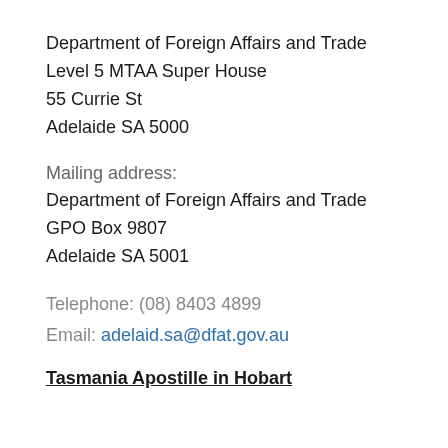Department of Foreign Affairs and Trade
Level 5 MTAA Super House
55 Currie St
Adelaide SA 5000
Mailing address:
Department of Foreign Affairs and Trade
GPO Box 9807
Adelaide SA 5001
Telephone: (08) 8403 4899
Email: adelaid.sa@dfat.gov.au
Tasmania Apostille in Hobart